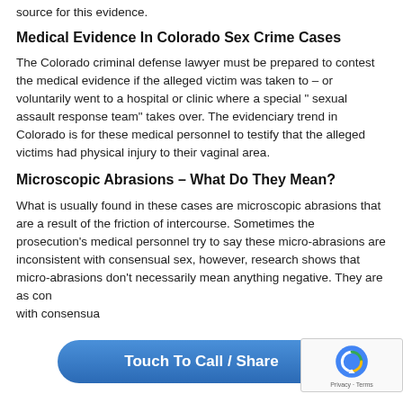source for this evidence.
Medical Evidence In Colorado Sex Crime Cases
The Colorado criminal defense lawyer must be prepared to contest the medical evidence if the alleged victim was taken to – or voluntarily went to a hospital or clinic where a special " sexual assault response team" takes over. The evidenciary trend in Colorado is for these medical personnel to testify that the alleged victims had physical injury to their vaginal area.
Microscopic Abrasions – What Do They Mean?
What is usually found in these cases are microscopic abrasions that are a result of the friction of intercourse. Sometimes the prosecution's medical personnel try to say these micro-abrasions are inconsistent with consensual sex, however, research shows that micro-abrasions don't necessarily mean anything negative. They are as con... with consensua...